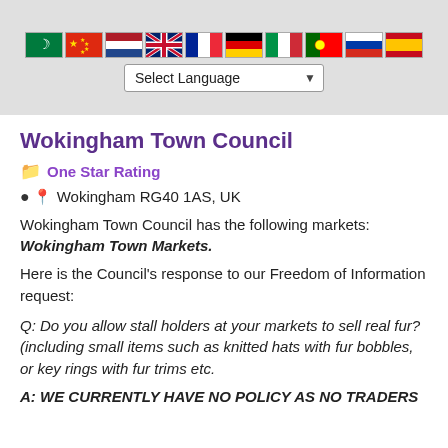[Figure (other): Language selector header with flag icons for Arabic, Chinese, Dutch, English, French, German, Italian, Portuguese, Russian, Spanish, and a 'Select Language' dropdown]
Wokingham Town Council
One Star Rating
Wokingham RG40 1AS, UK
Wokingham Town Council has the following markets: Wokingham Town Markets.
Here is the Council's response to our Freedom of Information request:
Q: Do you allow stall holders at your markets to sell real fur? (including small items such as knitted hats with fur bobbles, or key rings with fur trims etc.
A: WE CURRENTLY HAVE NO POLICY AS NO TRADERS